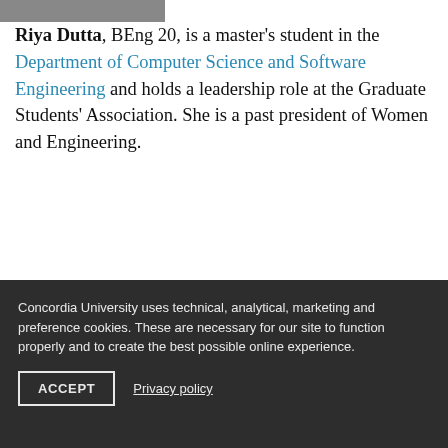[Figure (photo): Partial photo of a person (cropped, only bottom portion visible)]
Riya Dutta, BEng 20, is a master's student in the Department of Computer Science and Software Engineering and holds a leadership role at the Graduate Students' Association. She is a past president of Women and Engineering.
Concordia University uses technical, analytical, marketing and preference cookies. These are necessary for our site to function properly and to create the best possible online experience.
ACCEPT
Privacy policy